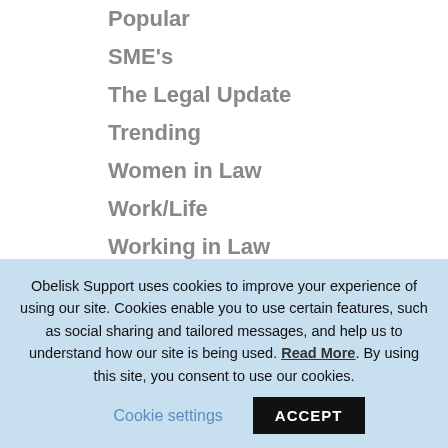Popular
SME's
The Legal Update
Trending
Women in Law
Work/Life
Working in Law
CASE STUDIES
[Figure (photo): Globe image on black background with 'Working ng' text to the right]
Obelisk Support uses cookies to improve your experience of using our site. Cookies enable you to use certain features, such as social sharing and tailored messages, and help us to understand how our site is being used. Read More. By using this site, you consent to use our cookies. Cookie settings ACCEPT